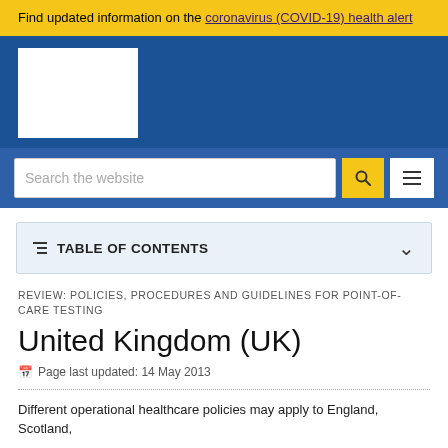Find updated information on the coronavirus (COVID-19) health alert
[Figure (screenshot): Website header with blue background and white logo box on the left]
[Figure (screenshot): Search bar with placeholder 'Search the website', yellow search button with magnifying glass icon, and white hamburger menu button]
TABLE OF CONTENTS
REVIEW: POLICIES, PROCEDURES AND GUIDELINES FOR POINT-OF-CARE TESTING
United Kingdom (UK)
Page last updated: 14 May 2013
Different operational healthcare policies may apply to England, Scotland,